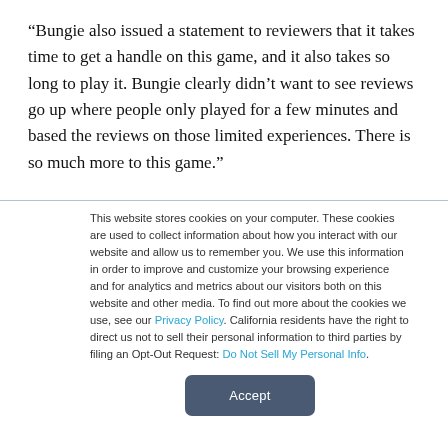“Bungie also issued a statement to reviewers that it takes time to get a handle on this game, and it also takes so long to play it. Bungie clearly didn’t want to see reviews go up where people only played for a few minutes and based the reviews on those limited experiences. There is so much more to this game.”
This website stores cookies on your computer. These cookies are used to collect information about how you interact with our website and allow us to remember you. We use this information in order to improve and customize your browsing experience and for analytics and metrics about our visitors both on this website and other media. To find out more about the cookies we use, see our Privacy Policy. California residents have the right to direct us not to sell their personal information to third parties by filing an Opt-Out Request: Do Not Sell My Personal Info.
Accept